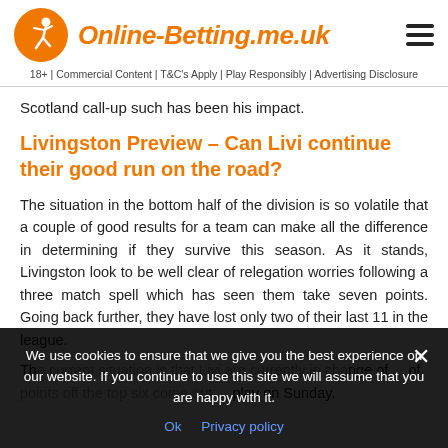Online-Betting.me.uk
18+ | Commercial Content | T&C's Apply | Play Responsibly | Advertising Disclosure
Scotland call-up such has been his impact.
Livingston Preview – Can Livi continue their good run on the road?
The situation in the bottom half of the division is so volatile that a couple of good results for a team can make all the difference in determining if they survive this season. As it stands, Livingston look to be well clear of relegation worries following a three match spell which has seen them take seven points. Going back further, they have lost only two of their last 11 in the league.
Th... cm ... of points off the top six come out... play on Sunday.
We use cookies to ensure that we give you the best experience on our website. If you continue to use this site we will assume that you are happy with it.